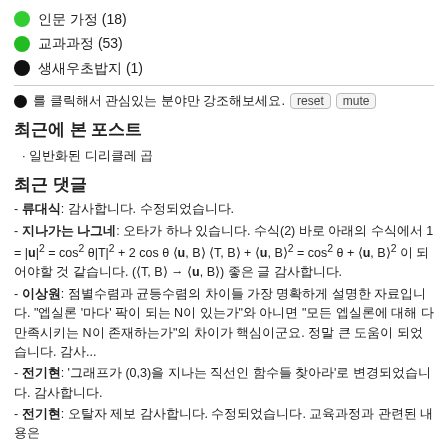인문 가정 (18)
교과과정 (53)
생새우초밥지 (1)
● 를 클릭해서 관심있는 분야만 강조해보세요. reset mute
최근에 본 포스트
· 일반화된 디리클레 곱
최근 댓글
- 류대식: 감사합니다. 수정되었습니다.
- 지나가는 나그네: 오타가 하나 있습니다. 수식(2) 바로 아래의 수식에서 1 = |u|² = cos²θ|T|² + 2cosθ⟨u,B⟩⟨T,B⟩ + ⟨u,B⟩² = cos²θ + ⟨u,B⟩² 이 되어야할 것 같습니다. (⟨T,B⟩ → ⟨u,B⟩) 좋은 글 감사합니다.
- 이상원: 점별수렴과 균등수렴의 차이들 가장 명확하게 설명한 자료입니다. "엡실론 '마다' 팍이 되는 N이 있는가"와 아니면 "모든 엡실론에 대해 다 만족시키는 N이 존재하는가"의 차이가 핵심이군요. 정말 큰 도움이 되었습니다. 감사...
- 전기현: '그래프가 (0,3)을 지나는 직선인 함수들 찾아라'로 변경되었습니다. 감사합니다.
- 전기현: 오탈자 제보 감사합니다. 수정되었습니다. 교육과정과 관련된 내용은